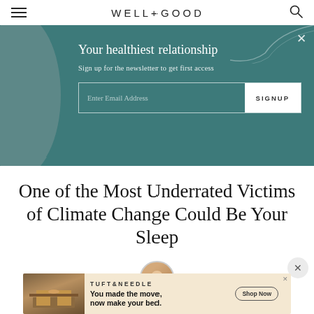WELL+GOOD
[Figure (screenshot): Newsletter signup banner with teal background, decorative blob, email input field, and SIGNUP button. Title: 'Your healthiest relationship'. Subtitle: 'Sign up for the newsletter to get first access'.]
One of the Most Underrated Victims of Climate Change Could Be Your Sleep
[Figure (photo): Author avatar circle photo of a woman smiling, partially visible]
[Figure (screenshot): Tuft & Needle advertisement banner at bottom: 'You made the move, now make your bed.' with Shop Now button]